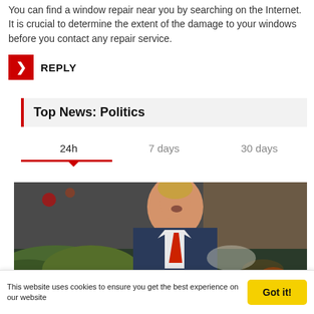You can find a window repair near you by searching on the Internet. It is crucial to determine the extent of the damage to your windows before you contact any repair service.
REPLY
Top News: Politics
24h   7 days   30 days
[Figure (photo): A man in a dark suit with a red tie, photographed outdoors near a vehicle, with green foliage in the foreground.]
This website uses cookies to ensure you get the best experience on our website